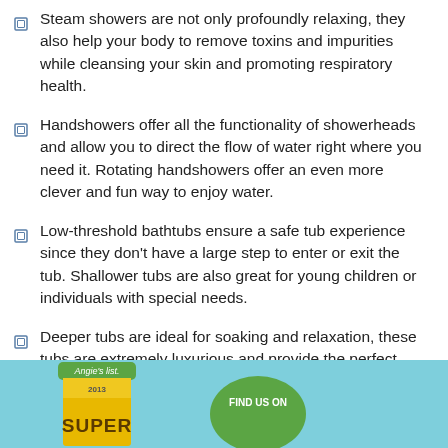Steam showers are not only profoundly relaxing, they also help your body to remove toxins and impurities while cleansing your skin and promoting respiratory health.
Handshowers offer all the functionality of showerheads and allow you to direct the flow of water right where you need it. Rotating handshowers offer an even more clever and fun way to enjoy water.
Low-threshold bathtubs ensure a safe tub experience since they don't have a large step to enter or exit the tub. Shallower tubs are also great for young children or individuals with special needs.
Deeper tubs are ideal for soaking and relaxation, these tubs are extremely luxurious and provide the perfect place to relax after a long day at the office or school. We also offer walk in tubs, which are perfect for those with limited mobility or special needs.
[Figure (logo): Angie's List 2013 Super Service Award badge and Find Us On button in teal footer bar]